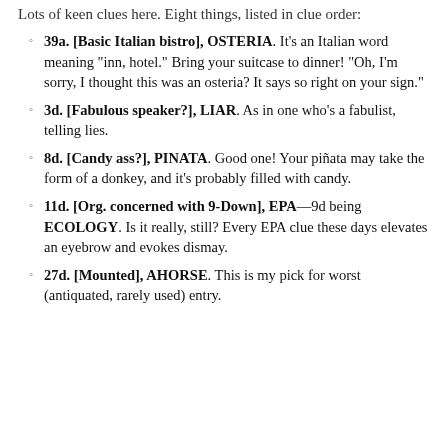Lots of keen clues here. Eight things, listed in clue order:
39a. [Basic Italian bistro], OSTERIA. It’s an Italian word meaning “inn, hotel.” Bring your suitcase to dinner! “Oh, I’m sorry, I thought this was an osteria? It says so right on your sign.”
3d. [Fabulous speaker?], LIAR. As in one who’s a fabulist, telling lies.
8d. [Candy ass?], PINATA. Good one! Your piñata may take the form of a donkey, and it’s probably filled with candy.
11d. [Org. concerned with 9-Down], EPA—9d being ECOLOGY. Is it really, still? Every EPA clue these days elevates an eyebrow and evokes dismay.
27d. [Mounted], AHORSE. This is my pick for worst (antiquated, rarely used) entry.